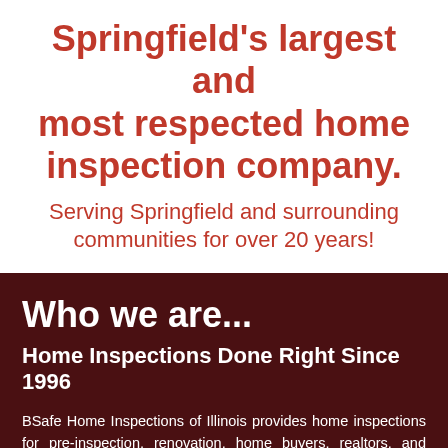Springfield's largest and most respected home inspection company.
Serving Springfield and surrounding communities for over 20 years!
Who we are...
Home Inspections Done Right Since 1996
BSafe Home Inspections of Illinois provides home inspections for pre-inspection, renovation, home buyers, realtors, and home sellers by trained, professional home inspectors.